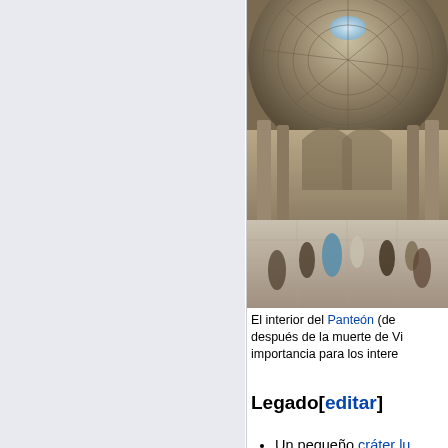[Figure (photo): Interior of the Pantheon in Rome, showing the domed ceiling with coffers, columns, and people on the floor below. Painted scene with classical architecture.]
El interior del Panteón (de después de la muerte de Vi importancia para los intere
Legado[editar]
Un pequeño cráter lu alargada, el Mons Vit lugar de aterrizaje de